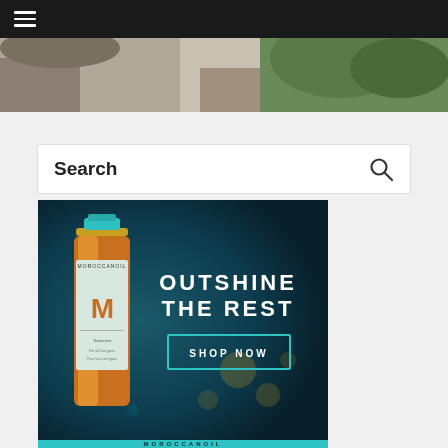Navigation bar with hamburger menu
[Figure (photo): Partial lifestyle photo showing a person with plants in the background, cropped at top of page]
[Figure (other): Search bar with bold 'Search' placeholder text and a magnifying glass icon on the right]
[Figure (illustration): Moroccanoil advertisement banner with a dark teal background, an amber bottle of Moroccanoil Treatment, text reading 'OUTSHINE THE REST' and a 'SHOP NOW' button with teal border, and a teal bottom bar with 'MOROCCANOIL' text]